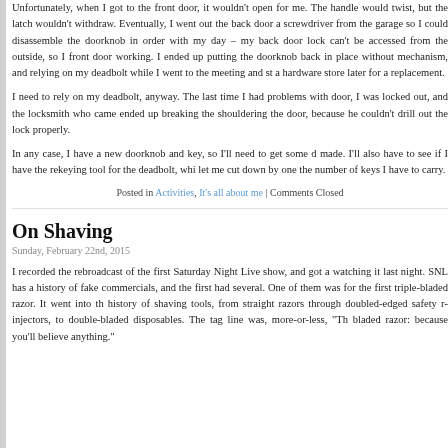Unfortunately, when I got to the front door, it wouldn't open for me. The handle would twist, but the latch wouldn't withdraw. Eventually, I went out the back door and got a screwdriver from the garage so I could disassemble the doorknob in order to continue with my day – my back door lock can't be accessed from the outside, so I had to get the front door working. I ended up putting the doorknob back in place without the latching mechanism, and relying on my deadbolt while I went to the meeting and stopped in at a hardware store later for a replacement.
I need to rely on my deadbolt, anyway. The last time I had problems with my front door, I was locked out, and the locksmith who came ended up breaking the door by shouldering the door, because he couldn't drill out the lock properly.
In any case, I have a new doorknob and key, so I'll need to get some duplicates made. I'll also have to see if I have the rekeying tool for the deadbolt, which would let me cut down by one the number of keys I have to carry.
Posted in Activities, It's all about me | Comments Closed
On Shaving
Sunday, February 22nd, 2015
I recorded the rebroadcast of the first Saturday Night Live show, and got around to watching it last night. SNL has a history of fake commercials, and the first show had several. One of them was for the first triple-bladed razor. It went into the history of shaving tools, from straight razors through doubled-edged safety razors, injectors, to double-bladed disposables. The tag line was, more-or-less, "Th... bladed razor: because you'll believe anything."